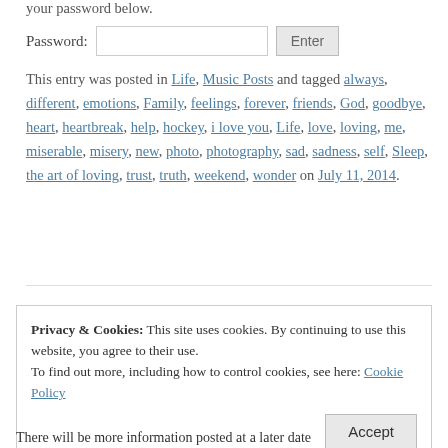your password below.
Password: [input field] Enter
This entry was posted in Life, Music Posts and tagged always, different, emotions, Family, feelings, forever, friends, God, goodbye, heart, heartbreak, help, hockey, i love you, Life, love, loving, me, miserable, misery, new, photo, photography, sad, sadness, self, Sleep, the art of loving, trust, truth, weekend, wonder on July 11, 2014.
Privacy & Cookies: This site uses cookies. By continuing to use this website, you agree to their use. To find out more, including how to control cookies, see here: Cookie Policy
There will be more information posted at a later date